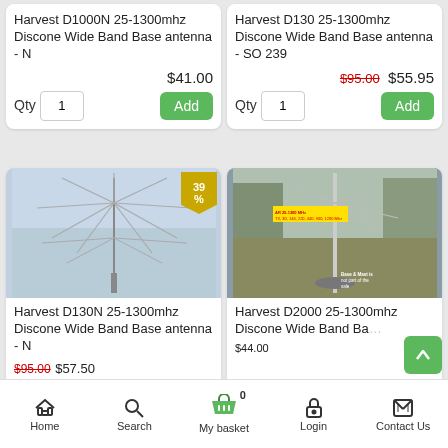Harvest D1000N 25-1300mhz Discone Wide Band Base antenna - N
$41.00
Qty 1 Add
Harvest D130 25-1300mhz Discone Wide Band Base antenna - SO 239
$95.00 $55.95
Qty 1 Add
[Figure (photo): Discone wide band antenna against cloudy sky with 39% discount badge]
Harvest D130N 25-1300mhz Discone Wide Band Base antenna - N
$95.00 $57.50
[Figure (photo): Discone antenna on base/mast in outdoor setting with yellow banner text]
Harvest D2000 25-1300mhz Discone Wide Band antenna - 239
$44.00
Home  Search  My basket 0  Login  Contact Us